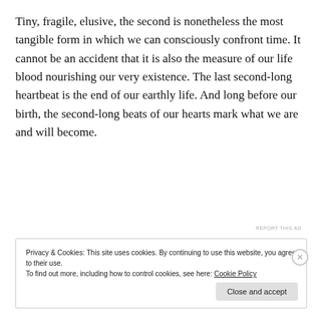Tiny, fragile, elusive, the second is nonetheless the most tangible form in which we can consciously confront time. It cannot be an accident that it is also the measure of our life blood nourishing our very existence.  The last second-long heartbeat is the end of our earthly life. And long before our birth, the second-long beats of our hearts mark what we are and will become.
[Figure (other): Advertisement banner with dark background showing a bonsai tree icon in a white circle, teal text 'Launch your online course with WordPress', and white underlined 'Learn More' button]
REPORT THIS AD
Privacy & Cookies: This site uses cookies. By continuing to use this website, you agree to their use.
To find out more, including how to control cookies, see here: Cookie Policy
Close and accept